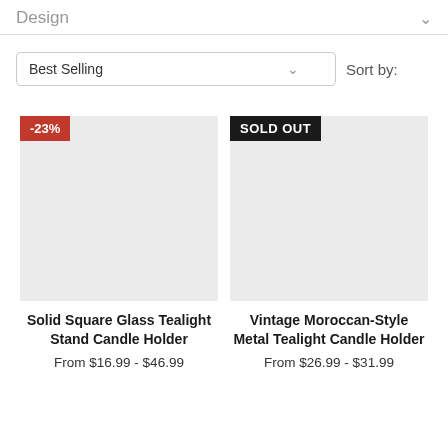Design
Best Selling   Sort by:
[Figure (screenshot): Product card for Solid Square Glass Tealight Stand Candle Holder with -23% discount badge and light gray placeholder image]
Solid Square Glass Tealight Stand Candle Holder
From $16.99 - $46.99
[Figure (screenshot): Product card for Vintage Moroccan-Style Metal Tealight Candle Holder with SOLD OUT badge and light gray placeholder image]
Vintage Moroccan-Style Metal Tealight Candle Holder
From $26.99 - $31.99